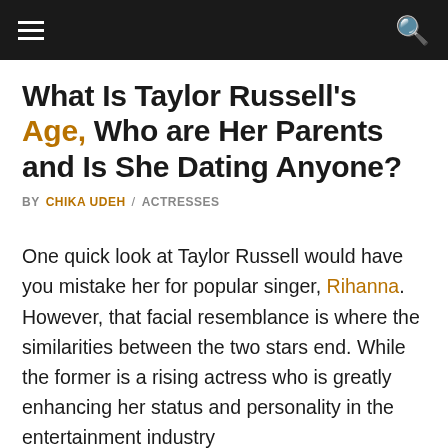≡   🔍
What Is Taylor Russell's Age, Who are Her Parents and Is She Dating Anyone?
BY CHIKA UDEH / ACTRESSES
One quick look at Taylor Russell would have you mistake her for popular singer, Rihanna. However, that facial resemblance is where the similarities between the two stars end. While the former is a rising actress who is greatly enhancing her status and personality in the entertainment industry